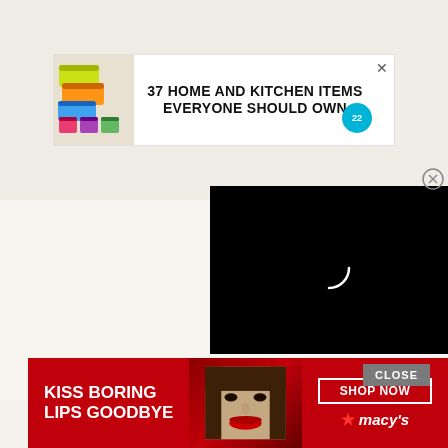[Figure (screenshot): Top advertisement banner: colorful storage bags image on left, bold text '37 HOME AND KITCHEN ITEMS EVERYONE SHOULD OWN' in center, teal badge with '22' on right, close X button in top right corner]
[Figure (screenshot): Video player popup in bottom-right quadrant showing black background with white loading spinner arc, close button (circled X) in top right]
CLOSE
[Figure (screenshot): Bottom advertisement banner for Macy's: red background, white bold text 'KISS BORING LIPS GOODBYE', woman with red lips in center, 'SHOP NOW' button and Macy's star logo on right]